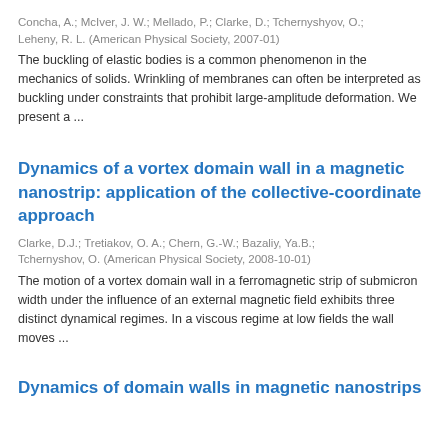Concha, A.; McIver, J. W.; Mellado, P.; Clarke, D.; Tchernyshyov, O.; Leheny, R. L. (American Physical Society, 2007-01)
The buckling of elastic bodies is a common phenomenon in the mechanics of solids. Wrinkling of membranes can often be interpreted as buckling under constraints that prohibit large-amplitude deformation. We present a ...
Dynamics of a vortex domain wall in a magnetic nanostrip: application of the collective-coordinate approach
Clarke, D.J.; Tretiakov, O. A.; Chern, G.-W.; Bazaliy, Ya.B.; Tchernyshov, O. (American Physical Society, 2008-10-01)
The motion of a vortex domain wall in a ferromagnetic strip of submicron width under the influence of an external magnetic field exhibits three distinct dynamical regimes. In a viscous regime at low fields the wall moves ...
Dynamics of domain walls in magnetic nanostrips